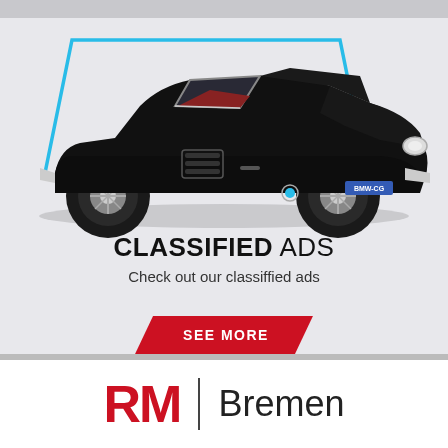[Figure (photo): Classic black BMW convertible sports car (vintage roadster, 1950s-60s era) photographed on a light gray background with a blue parallelogram decorative frame element. License plate reads BMW-CG.]
CLASSIFIED ADS
Check out our classiffied ads
SEE MORE
[Figure (logo): RM | Bremen logo — red bold RM letters, vertical divider, then Bremen in gray sans-serif]